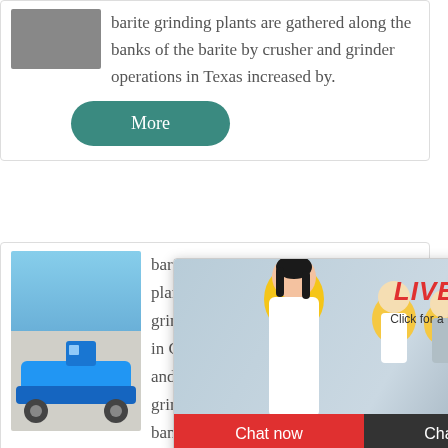[Figure (photo): Small grey image placeholder top left]
barite grinding plants are gathered along the banks of the barite by crusher and grinder operations in Texas increased by.
More
[Figure (photo): Blue mining machine on road]
barite crushing plant plant barite at galvest grinding plants in Bro in Corpus Christi one and The industrialgra grinding plants are ga banks of the barite by crusher and
[Figure (photo): Live Chat popup with workers in hard hats, woman in foreground. Buttons: Chat now, Chat later. Close button.]
LIVE CHAT
Click for a Free Consultation
Chat now
Chat later
7 hours online
Click me to chat >>
Enquiry
superbrian707@gm